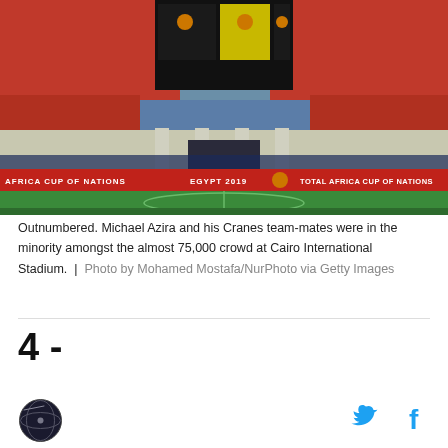[Figure (photo): Stadium photo showing Cairo International Stadium packed with fans wearing red, with scoreboard displaying Africa Cup of Nations Egypt 2019 branding and a red advertising board reading 'AFRICA CUP OF NATIONS EGYPT 2019 TOTAL AFRICA CUP OF NATIONS']
Outnumbered. Michael Azira and his Cranes team-mates were in the minority amongst the almost 75,000 crowd at Cairo International Stadium.  |  Photo by Mohamed Mostafa/NurPhoto via Getty Images
4 -
[Figure (logo): Circular dark globe/satellite logo]
[Figure (other): Twitter bird icon and Facebook f icon in light blue]